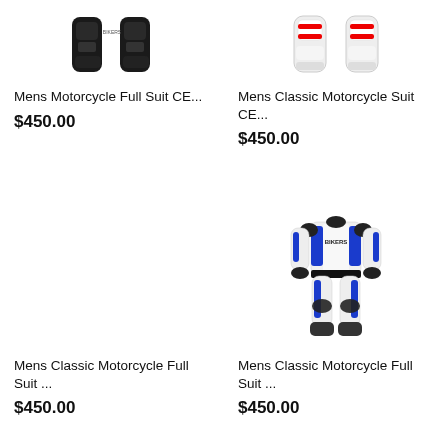[Figure (photo): Black motorcycle suit/armor pieces shown as two separate leg/knee pad items on white background]
Mens Motorcycle Full Suit CE...
$450.00
[Figure (photo): White and red motorcycle knee/shin armor pieces on white background]
Mens Classic Motorcycle Suit CE...
$450.00
[Figure (photo): Empty product space (no image shown)]
Mens Classic Motorcycle Full Suit ...
$450.00
[Figure (photo): White and blue full motorcycle racing suit with black accents and BIKERS branding, shown on mannequin]
Mens Classic Motorcycle Full Suit ...
$450.00